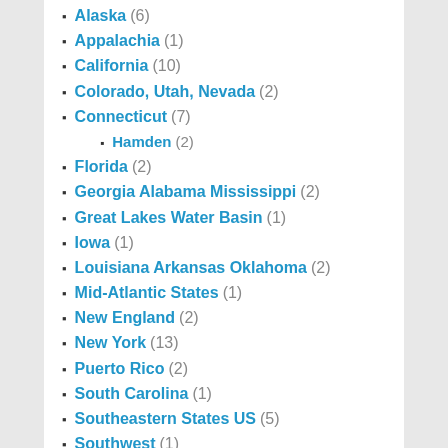Alaska (6)
Appalachia (1)
California (10)
Colorado, Utah, Nevada (2)
Connecticut (7)
Hamden (2)
Florida (2)
Georgia Alabama Mississippi (2)
Great Lakes Water Basin (1)
Iowa (1)
Louisiana Arkansas Oklahoma (2)
Mid-Atlantic States (1)
New England (2)
New York (13)
Puerto Rico (2)
South Carolina (1)
Southeastern States US (5)
Southwest (1)
Texas and Oklahoma (5)
Virginia and West Virginia (4)
Washington (2)
US Foreign Policy & Foreign Affairs 2 (621)